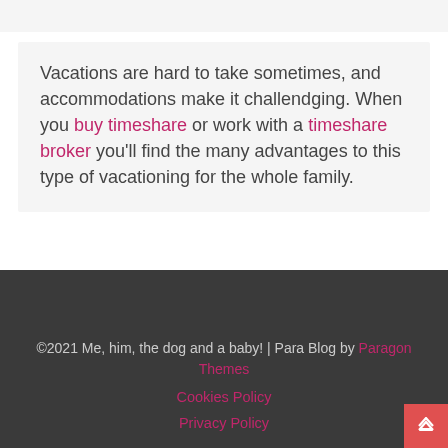Vacations are hard to take sometimes, and accommodations make it challendging. When you buy timeshare or work with a timeshare broker you'll find the many advantages to this type of vacationing for the whole family.
©2021 Me, him, the dog and a baby! | Para Blog by Paragon Themes
Cookies Policy
Privacy Policy